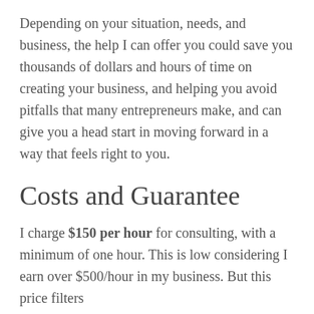Depending on your situation, needs, and business, the help I can offer you could save you thousands of dollars and hours of time on creating your business, and helping you avoid pitfalls that many entrepreneurs make, and can give you a head start in moving forward in a way that feels right to you.
Costs and Guarantee
I charge $150 per hour for consulting, with a minimum of one hour. This is low considering I earn over $500/hour in my business. But this price filters